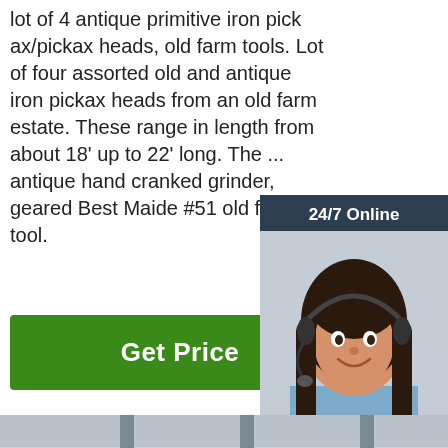lot of 4 antique primitive iron pick ax/pickax heads, old farm tools. Lot of four assorted old and antique iron pickax heads from an old farm estate. These range in length from about 18' up to 22' long. The ... antique hand cranked grinder, geared Best Maide #51 old farm tool.
Get Price
[Figure (photo): Live chat widget with a woman wearing a headset, '24/7 Online' header, 'Click here for free chat!' text, and an orange QUOTATION button, on a dark blue-grey background.]
[Figure (photo): Industrial factory floor with machinery, appearing to be a metal fabrication or rolling mill facility. A worker in yellow vest is visible in the background.]